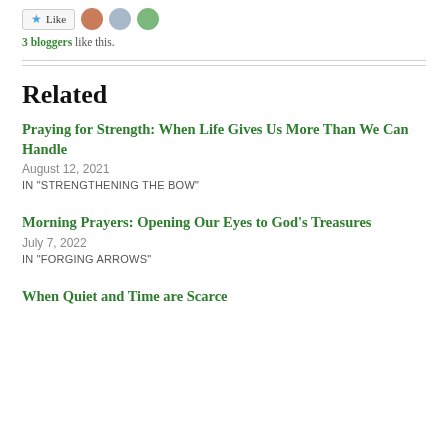3 bloggers like this.
Related
Praying for Strength: When Life Gives Us More Than We Can Handle
August 12, 2021
IN "STRENGTHENING THE BOW"
Morning Prayers: Opening Our Eyes to God's Treasures
July 7, 2022
IN "FORGING ARROWS"
When Quiet and Time are Scarce